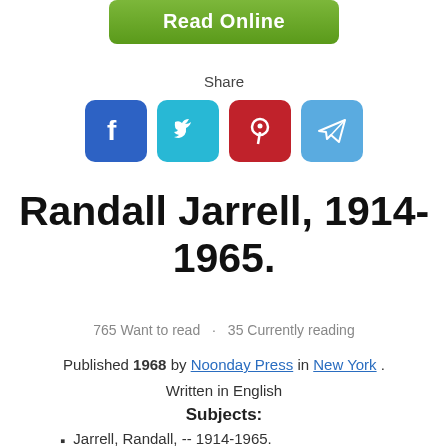[Figure (other): Green 'Read Online' button at top center]
Share
[Figure (other): Social sharing icons: Facebook (blue), Twitter (cyan), Pinterest (red), Telegram (light blue)]
Randall Jarrell, 1914-1965.
765 Want to read · 35 Currently reading
Published 1968 by Noonday Press in New York . Written in English
Subjects:
Jarrell, Randall, -- 1914-1965.